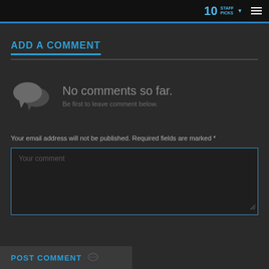10 STAFF PICKS
ADD A COMMENT
No comments so far. Be first to leave comment below.
Your email address will not be published. Required fields are marked *
Your comment
POST COMMENT